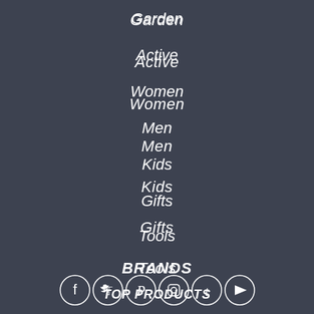Garden
Active
Women
Men
Kids
Gifts
Tools
BRANDS
TOP PRODUCTS
[Figure (infographic): Social media icons row: Facebook, Twitter, Pinterest, Instagram, Tumblr, YouTube — white circle outlines on dark background]